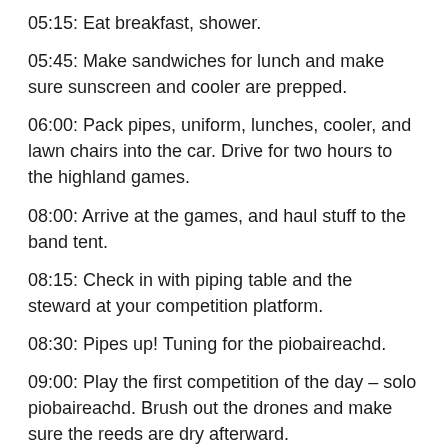05:15: Eat breakfast, shower.
05:45: Make sandwiches for lunch and make sure sunscreen and cooler are prepped.
06:00: Pack pipes, uniform, lunches, cooler, and lawn chairs into the car. Drive for two hours to the highland games.
08:00: Arrive at the games, and haul stuff to the band tent.
08:15: Check in with piping table and the steward at your competition platform.
08:30: Pipes up! Tuning for the piobaireachd.
09:00: Play the first competition of the day – solo piobaireachd. Brush out the drones and make sure the reeds are dry afterward.